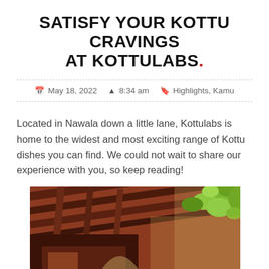SATISFY YOUR KOTTU CRAVINGS AT KOTTULABS.
May 18, 2022   8:34 am   Highlights, Kamu
Located in Nawala down a little lane, Kottulabs is home to the widest and most exciting range of Kottu dishes you can find. We could not wait to share our experience with you, so keep reading!
[Figure (photo): Photo of Kottulabs restaurant exterior showing wooden lattice ceiling beams and hanging green plants, warm reddish-brown tones.]